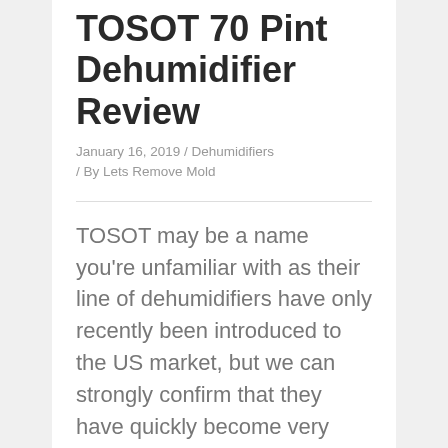TOSOT 70 Pint Dehumidifier Review
January 16, 2019 / Dehumidifiers / By Lets Remove Mold
TOSOT may be a name you're unfamiliar with as their line of dehumidifiers have only recently been introduced to the US market, but we can strongly confirm that they have quickly become very popular